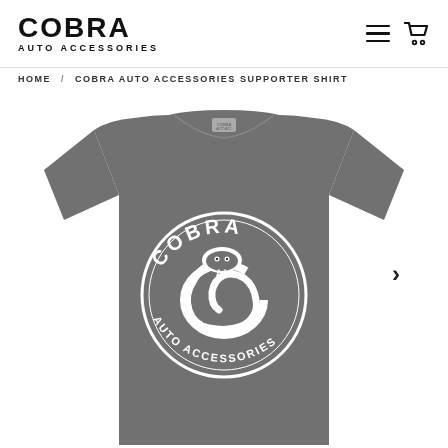COBRA AUTO ACCESSORIES
HOME / COBRA AUTO ACCESSORIES SUPPORTER SHIRT
[Figure (photo): Gray t-shirt with Cobra Auto Accessories circular logo printed in white on the front. The logo shows a coiled cobra snake in the center of a circle with 'COBRA' text at top and 'AUTO ACCESSORIES' text at the bottom of the circle.]